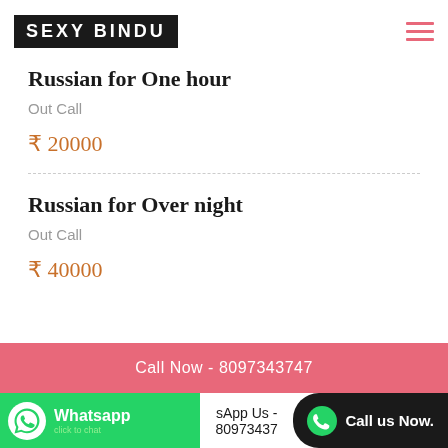SEXY BINDU
Russian for One hour
Out Call
₹ 20000
Russian for Over night
Out Call
₹ 40000
Call Now - 8097343747
Whatsapp | WhatsApp Us - 80973437 | Call us Now.